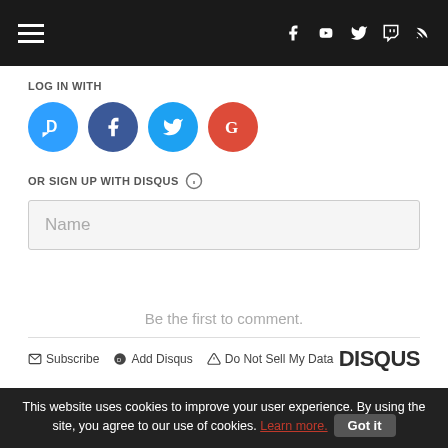Navigation bar with hamburger menu and social media icons (Facebook, YouTube, Twitter, Twitch, RSS)
LOG IN WITH
[Figure (illustration): Social login icons: Disqus (blue circle with D), Facebook (dark blue with f), Twitter (light blue with bird), Google (red with G)]
OR SIGN UP WITH DISQUS ?
Name
Be the first to comment.
Subscribe  Add Disqus  Do Not Sell My Data   DISQUS
This website uses cookies to improve your user experience. By using the site, you agree to our use of cookies. Learn more.  Got it